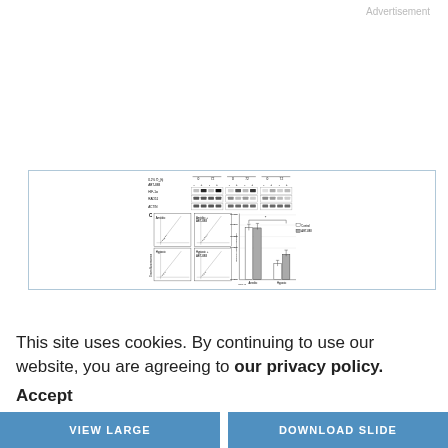Advertisement
[Figure (other): Western blot panel showing HIF-1a, RAD51, and ACTIN protein bands across three cell lines under 0.2% O2 (h) conditions (0 and 72 h) with and without ABT-888 treatment. Panel C shows flow cytometry scatter plots for Aerobic, Aerobic + ABT-888, Hypoxic, and Hypoxic + ABT-888 conditions, plus a bar chart of Recombination Frequency comparing Control and ABT-888 treatment under Aerobic and Hypoxic conditions.]
This site uses cookies. By continuing to use our website, you are agreeing to our privacy policy.
Accept
VIEW LARGE
DOWNLOAD SLIDE